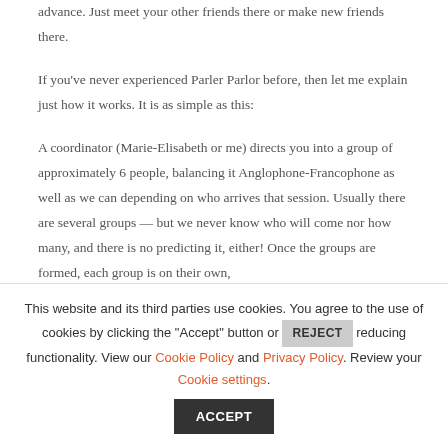advance. Just meet your other friends there or make new friends there.

If you've never experienced Parler Parlor before, then let me explain just how it works. It is as simple as this:

A coordinator (Marie-Elisabeth or me) directs you into a group of approximately 6 people, balancing it Anglophone-Francophone as well as we can depending on who arrives that session. Usually there are several groups — but we never know who will come nor how many, and there is no predicting it, either! Once the groups are formed, each group is on their own,
This website and its third parties use cookies. You agree to the use of cookies by clicking the "Accept" button or REJECT reducing functionality. View our Cookie Policy and Privacy Policy. Review your Cookie settings. ACCEPT